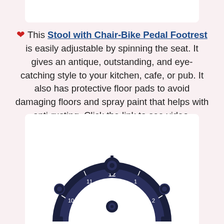❤ This Stool with Chair-Bike Pedal Footrest is easily adjustable by spinning the seat. It gives an antique, outstanding, and eye-catching style to your kitchen, cafe, or pub. It also has protective floor pads to avoid damaging floors and spray paint that helps with anti-rusting. Click the link to see video.
[Figure (photo): A decorative steampunk-style wall clock with gear motifs forming an arch shape, shown in dark navy/black color, with clock face showing numbers 10, 11, 12, 1, 2 visible along the top arc.]